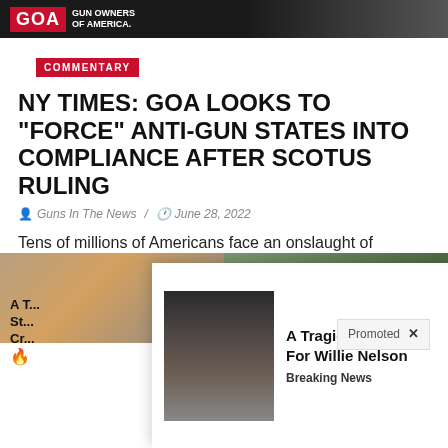GOA GUN OWNERS OF AMERICA
COMMENTARY
NY TIMES: GOA LOOKS TO "FORCE" ANTI-GUN STATES INTO COMPLIANCE AFTER SCOTUS RULING
Guns In The News / June 28, 2022
Tens of millions of Americans face an onslaught of litigation and legislative revision after a sweeping Supreme Court decision making it easier to carry a firearm in public upended gun control laws in at least a half-dozen states.... The Supreme Court ruling does not immediately nullify or re...te
[Figure (photo): Advertisement image showing two photos side by side]
[Figure (photo): Modal popup ad showing Willie Nelson with text 'A Tragic End Today For Willie Nelson - Breaking News']